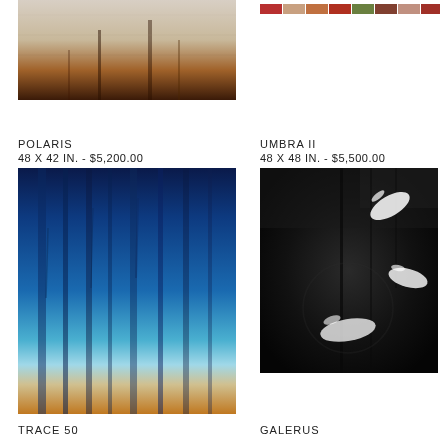[Figure (photo): Abstract painting with warm earthy tones at bottom fading to light beige/grey at top, with faint vertical dark marks suggesting tree-like forms]
[Figure (photo): Small horizontal strip of colorful artwork thumbnails in reds and warm tones]
POLARIS
48 X 42 IN. - $5,200.00
[Figure (photo): Abstract painting dominated by deep blues fading to cerulean and pale tones, with warm orange/gold at bottom, vertical streaks throughout]
UMBRA II
48 X 48 IN. - $5,500.00
[Figure (photo): Dark monochromatic artwork with black background featuring white bird-like or leaf-like forms floating in dark smoky atmosphere]
TRACE 50
GALERUS